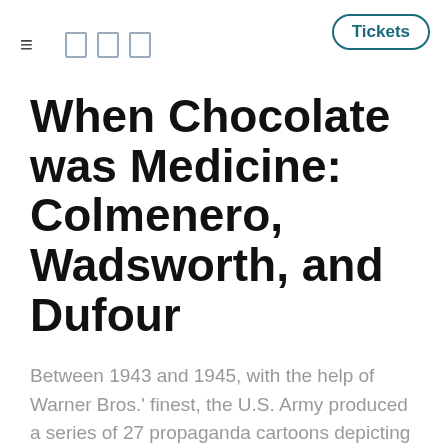≡  □ □ □  Tickets
When Chocolate was Medicine: Colmenero, Wadsworth, and Dufour
Between 1943 and 1945, with the help of Warner Bros.' finest, the U.S. Army produced a series of 27 propaganda cartoons depicting the calamitous adventures of Private Snafu.